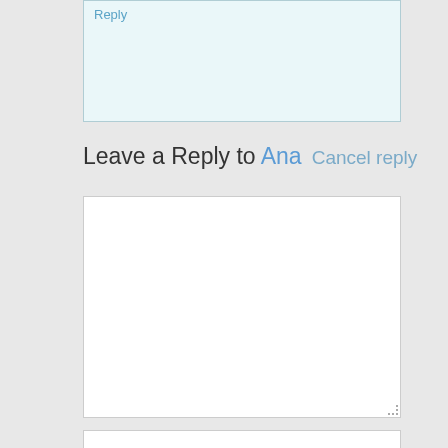[Figure (screenshot): Top portion of a reply comment box with light blue/teal background, showing a 'Reply' link in blue text at the top left]
Leave a Reply to Ana   Cancel reply
[Figure (screenshot): Large empty white comment textarea input box with resize handle at bottom right]
[Figure (screenshot): White input field with 'Name' placeholder text in gray]
[Figure (screenshot): White input field with 'Email' placeholder text in gray, partially visible at bottom of page]